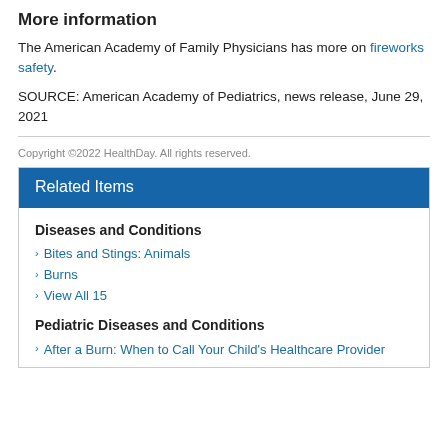More information
The American Academy of Family Physicians has more on fireworks safety.
SOURCE: American Academy of Pediatrics, news release, June 29, 2021
Copyright ©2022 HealthDay. All rights reserved.
Related Items
Diseases and Conditions
Bites and Stings: Animals
Burns
View All 15
Pediatric Diseases and Conditions
After a Burn: When to Call Your Child's Healthcare Provider